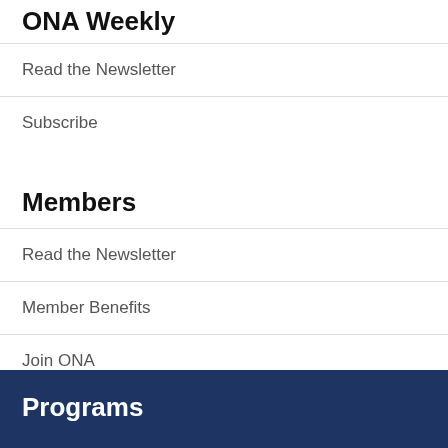ONA Weekly
Read the Newsletter
Subscribe
Members
Read the Newsletter
Member Benefits
Join ONA
Renew
Sign In
Programs